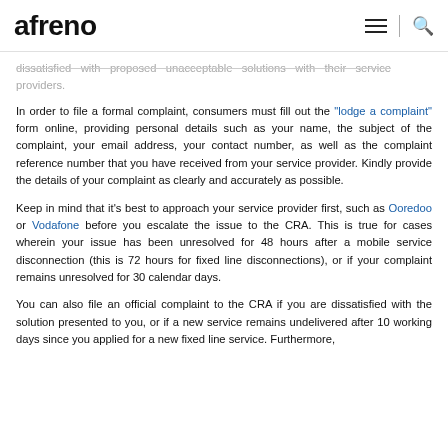afreno
dissatisfied with proposed unacceptable solutions with their service providers.
In order to file a formal complaint, consumers must fill out the "lodge a complaint" form online, providing personal details such as your name, the subject of the complaint, your email address, your contact number, as well as the complaint reference number that you have received from your service provider. Kindly provide the details of your complaint as clearly and accurately as possible.
Keep in mind that it's best to approach your service provider first, such as Ooredoo or Vodafone before you escalate the issue to the CRA. This is true for cases wherein your issue has been unresolved for 48 hours after a mobile service disconnection (this is 72 hours for fixed line disconnections), or if your complaint remains unresolved for 30 calendar days.
You can also file an official complaint to the CRA if you are dissatisfied with the solution presented to you, or if a new service remains undelivered after 10 working days since you applied for a new fixed line service. Furthermore,